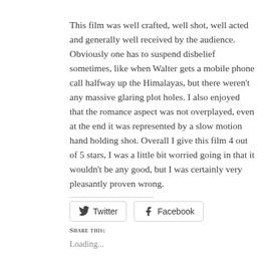This film was well crafted, well shot, well acted and generally well received by the audience. Obviously one has to suspend disbelief sometimes, like when Walter gets a mobile phone call halfway up the Himalayas, but there weren't any massive glaring plot holes. I also enjoyed that the romance aspect was not overplayed, even at the end it was represented by a slow motion hand holding shot. Overall I give this film 4 out of 5 stars, I was a little bit worried going in that it wouldn't be any good, but I was certainly very pleasantly proven wrong.
Share this:
Loading...